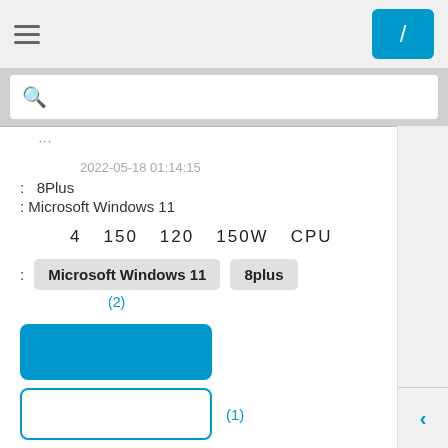[Figure (screenshot): Top navigation bar with hamburger menu icon on left and blue button with forward slash on right]
[Figure (screenshot): Search bar with magnifying glass icon on white background]
2022-05-18 01:14:15
:  8Plus
: Microsoft Windows 11
4  150  120  150W  CPU
:
Microsoft Windows 11
8plus
(2)
[Figure (screenshot): Blue filled button (large rectangle)]
[Figure (screenshot): White outlined button with blue border]
(1)